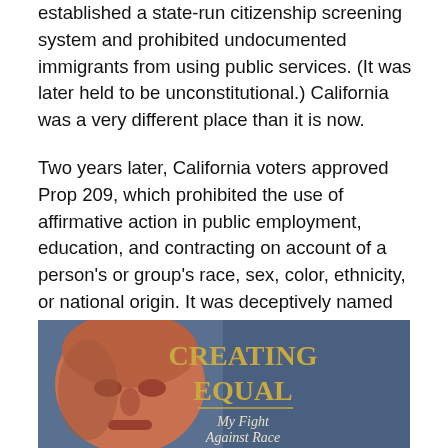established a state-run citizenship screening system and prohibited undocumented immigrants from using public services. (It was later held to be unconstitutional.) California was a very different place than it is now.
Two years later, California voters approved Prop 209, which prohibited the use of affirmative action in public employment, education, and contracting on account of a person's or group's race, sex, color, ethnicity, or national origin. It was deceptively named the California Civil Rights Initiative, and it passed with 55% of the vote.
[Figure (photo): Book cover of 'Creating Equal: My Fight Against Race Preferences' showing a man's face on the left and the title text in gold letters on a blue background.]